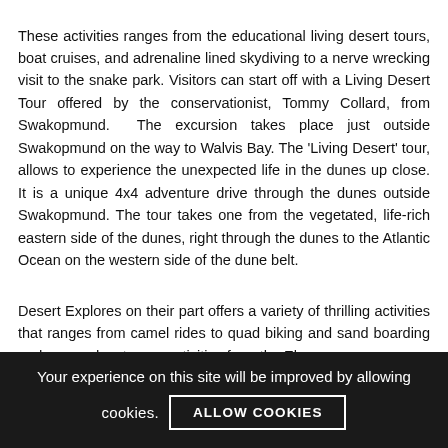These activities ranges from the educational living desert tours, boat cruises, and adrenaline lined skydiving to a nerve wrecking visit to the snake park. Visitors can start off with a Living Desert Tour offered by the conservationist, Tommy Collard, from Swakopmund.  The excursion takes place just outside Swakopmund on the way to Walvis Bay. The 'Living Desert' tour, allows to experience the unexpected life in the dunes up close. It is a unique 4x4 adventure drive through the dunes outside Swakopmund. The tour takes one from the vegetated, life-rich eastern side of the dunes, right through the dunes to the Atlantic Ocean on the western side of the dune belt.
Desert Explores on their part offers a variety of thrilling activities that ranges from camel rides to quad biking and sand boarding and more adventurous activities from the El...
Your experience on this site will be improved by allowing cookies.
ALLOW COOKIES